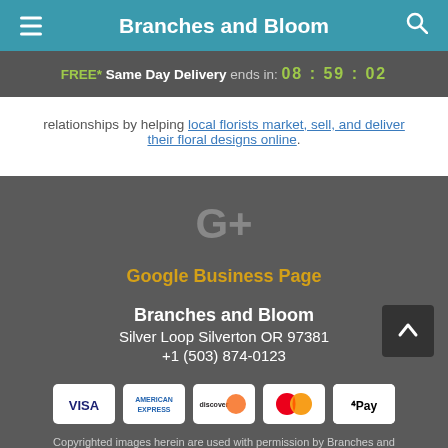Branches and Bloom
FREE* Same Day Delivery ends in: 08 : 59 : 02
relationships by helping local florists market, sell, and deliver their floral designs online.
[Figure (logo): Google Plus G+ logo icon in light gray]
Google Business Page
Branches and Bloom
Silver Loop Silverton OR 97381
+1 (503) 874-0123
[Figure (other): Payment method icons: Visa, American Express, Discover, Mastercard, Apple Pay]
Copyrighted images herein are used with permission by Branches and